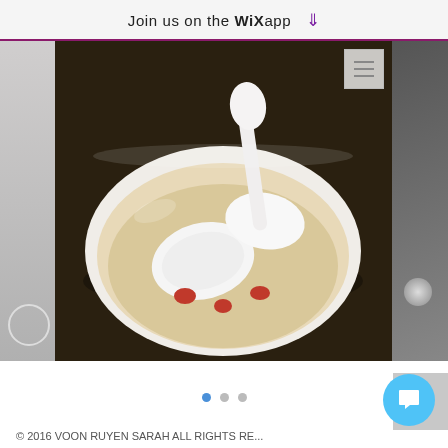Join us on the WiX app
[Figure (photo): Food blog screenshot showing a white bowl of clear soup with white gelatinous pieces and red goji berries, with a white spoon. Part of a Wix blog mobile app view. Article titled 'Executive Set Lunch and Tasting Menus @ Jumb...' with 209 views, 0 comments, and a heart like button.]
Executive Set Lunch and Tasting Menus @ Jumb...
209  0
© 2016 VOON RUYEN SARAH ALL RIGHTS RE...